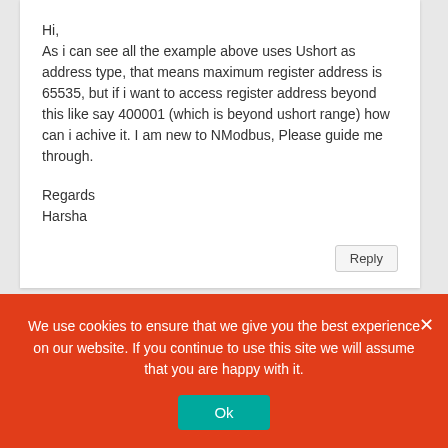Hi,
As i can see all the example above uses Ushort as address type, that means maximum register address is 65535, but if i want to access register address beyond this like say 400001 (which is beyond ushort range) how can i achive it. I am new to NModbus, Please guide me through.

Regards
Harsha
Reply
mesta
March 20, 2016 at 16:34
We use cookies to ensure that we give you the best experience on our website. If you continue to use this site we will assume that you are happy with it.